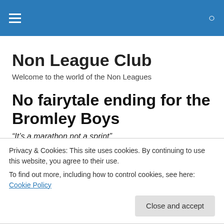Non League Club
Non League Club
Welcome to the world of the Non Leagues
No fairytale ending for the Bromley Boys
“It’s a marathon not a sprint”.
Privacy & Cookies: This site uses cookies. By continuing to use this website, you agree to their use.
To find out more, including how to control cookies, see here: Cookie Policy